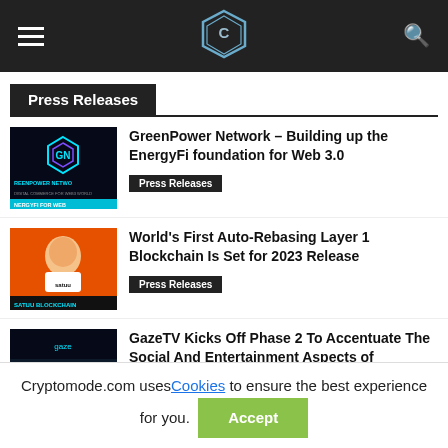CryptoMode navigation bar with hamburger menu, hexagon logo, and search icon
Press Releases
[Figure (screenshot): GreenPower Network thumbnail image with teal/neon logo and text ENERGYFI FOR WEB]
GreenPower Network – Building up the EnergyFi foundation for Web 3.0
Press Releases
[Figure (screenshot): Satuu Blockchain thumbnail with person in white esports jersey on orange background, text SATUU BLOCKCHAIN]
World's First Auto-Rebasing Layer 1 Blockchain Is Set for 2023 Release
Press Releases
[Figure (screenshot): GazeTV thumbnail with dark background showing gaze logo and text SE 2 IS H]
GazeTV Kicks Off Phase 2 To Accentuate The Social And Entertainment Aspects of
Cryptomode.com uses Cookies to ensure the best experience for you. Accept